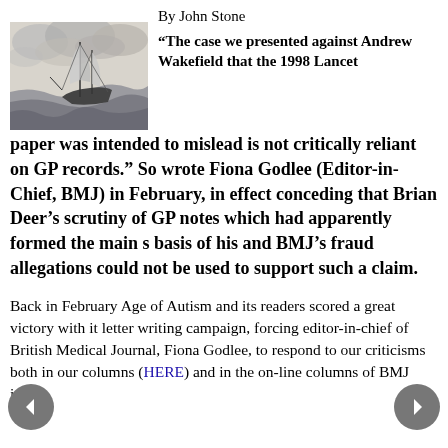By John Stone
[Figure (illustration): Black and white drawing of a sailing ship in rough seas with stormy clouds]
“The case we presented against Andrew Wakefield that the 1998 Lancet paper was intended to mislead is not critically reliant on GP records.” So wrote Fiona Godlee (Editor-in-Chief, BMJ) in February, in effect conceding that Brian Deer’s scrutiny of GP notes which had apparently formed the main s basis of his and BMJ’s fraud allegations could not be used to support such a claim.
Back in February Age of Autism and its readers scored a great victory with it letter writing campaign, forcing editor-in-chief of British Medical Journal, Fiona Godlee, to respond to our criticisms both in our columns (HERE) and in the on-line columns of BMJ itself